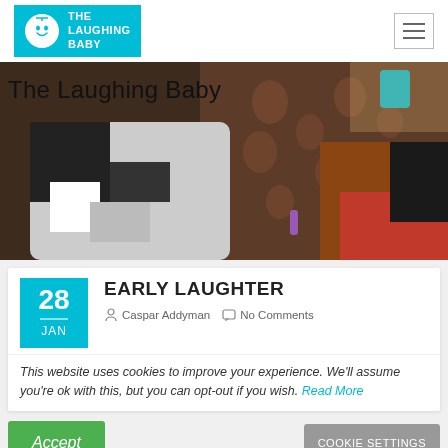The Laughing Baby
[Figure (photo): A parent holding a baby, indoor setting with patterned curtains in background. Text overlay reads 'The Laughing Baby'.]
EARLY LAUGHTER
28 JAN   Caspar Addyman   No Comments
This website uses cookies to improve your experience. We'll assume you're ok with this, but you can opt-out if you wish. Read More
Accept